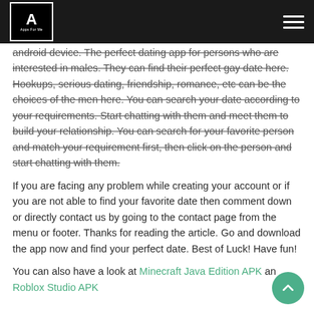Apps For Me
android device. The perfect dating app for persons who are interested in males. They can find their perfect gay date here. Hookups, serious dating, friendship, romance, etc can be the choices of the men here. You can search your date according to your requirements. Start chatting with them and meet them to build your relationship. You can search for your favorite person and match your requirement first, then click on the person and start chatting with them.
If you are facing any problem while creating your account or if you are not able to find your favorite date then comment down or directly contact us by going to the contact page from the menu or footer. Thanks for reading the article. Go and download the app now and find your perfect date. Best of Luck! Have fun!
You can also have a look at Minecraft Java Edition APK and Roblox Studio APK